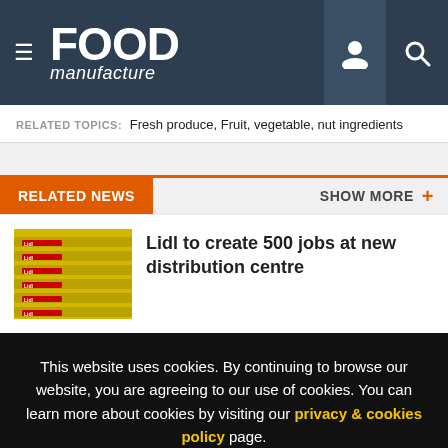FOOD manufacture
RELATED TOPICS: Fresh produce, Fruit, vegetable, nut ingredients
RELATED NEWS   SHOW MORE +
[Figure (photo): Lidl branded yellow conveyor rollers/packaging with Lidl logos]
Lidl to create 500 jobs at new distribution centre
This website uses cookies. By continuing to browse our website, you are agreeing to our use of cookies. You can learn more about cookies by visiting our privacy & cookies policy page.
I Agree